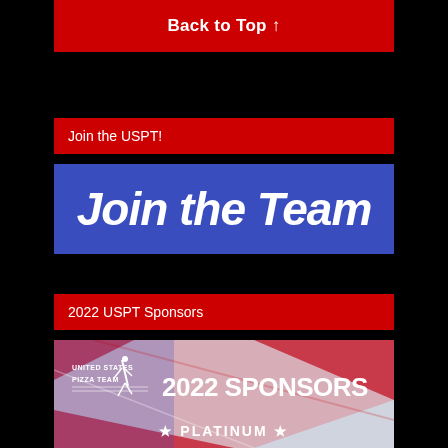Back to Top ↑
Join the USPT!
[Figure (illustration): Blue banner with large bold italic white text reading 'Join the Team']
2022 USPT Sponsors
[Figure (illustration): United States Pizza Team 2022 Sponsors banner with red, white and blue American flag background, USPT logo on left, '2022 SPONSORS' in large white text, and '★ PLATINUM ★' at bottom]